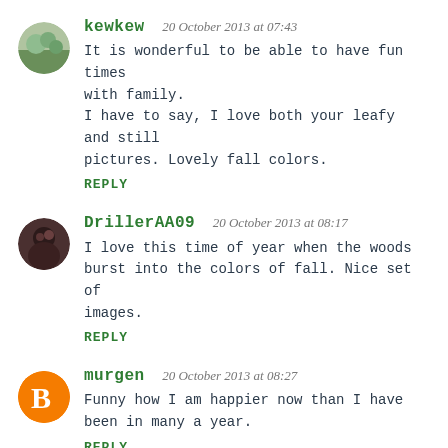kewkew 20 October 2013 at 07:43
It is wonderful to be able to have fun times with family.
I have to say, I love both your leafy and still pictures. Lovely fall colors.
REPLY
DrillerAA09 20 October 2013 at 08:17
I love this time of year when the woods burst into the colors of fall. Nice set of images.
REPLY
murgen 20 October 2013 at 08:27
Funny how I am happier now than I have been in many a year.
REPLY